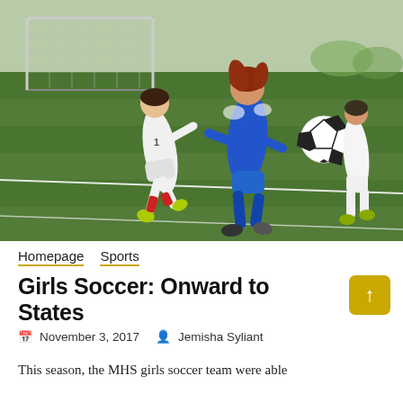[Figure (photo): Girls soccer match on a green turf field. A player in a blue Somerville jersey runs toward a soccer ball, while a player in white chases behind. Another player in white is visible in the background. A soccer goal is visible in the far background.]
Homepage   Sports
Girls Soccer: Onward to States
November 3, 2017   Jemisha Syliant
This season, the MHS girls soccer team were able